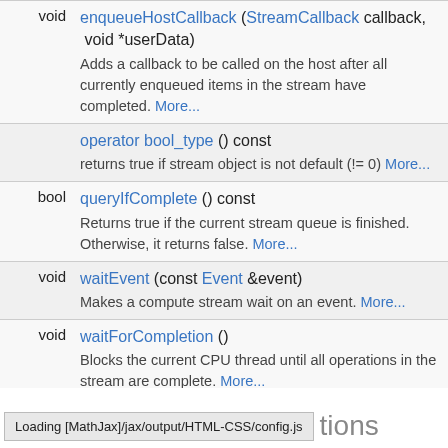| Return type | Function signature and description |
| --- | --- |
| void | enqueueHostCallback (StreamCallback callback, void *userData)
Adds a callback to be called on the host after all currently enqueued items in the stream have completed. More... |
|  | operator bool_type () const
returns true if stream object is not default (!= 0) More... |
| bool | queryIfComplete () const
Returns true if the current stream queue is finished. Otherwise, it returns false. More... |
| void | waitEvent (const Event &event)
Makes a compute stream wait on an event. More... |
| void | waitForCompletion ()
Blocks the current CPU thread until all operations in the stream are complete. More... |
Loading [MathJax]/jax/output/HTML-CSS/config.js   tions